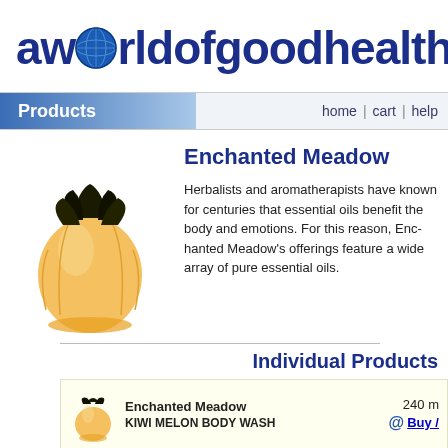aworldofgoodhealth.com
Products
home | cart | help
Enchanted Meadow
[Figure (photo): Yellow/orange melon-shaped body wash bottle with black cap]
Herbalists and aromatherapists have known for centuries that essential oils benefit the body and emotions. For this reason, Enchanted Meadow's offerings feature a wide array of pure essential oils.
Individual Products
[Figure (photo): Small yellow/orange melon-shaped body wash bottle thumbnail]
Enchanted Meadow
KIWI MELON BODY WASH
240 m
Buy /